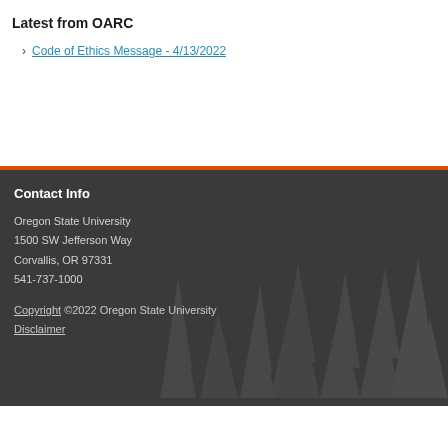Latest from OARC
Code of Ethics Message - 4/13/2022
Contact Info
Oregon State University
1500 SW Jefferson Way
Corvallis, OR 97331
541-737-1000
Copyright ©2022 Oregon State University
Disclaimer